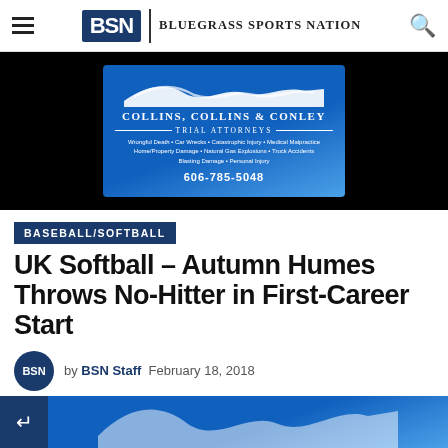BSN | BLUEGRASS SPORTS NATION
[Figure (other): Collins, Collins & Conley Trial Attorneys advertisement banner on dark background. Blue gradient ad with mountain wave logo, firm name, services list, and phone number 606-785-5048.]
BASEBALL/SOFTBALL
UK Softball – Autumn Humes Throws No-Hitter in First-Career Start
by BSN Staff   February 18, 2018
[Figure (other): Bottom strip showing share button and partial blue gradient image preview.]